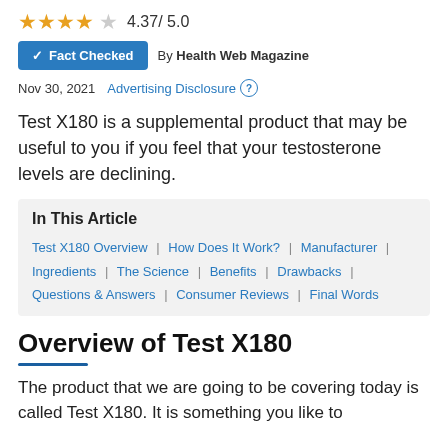4.37/ 5.0 (star rating)
✓ Fact Checked  By Health Web Magazine
Nov 30, 2021  Advertising Disclosure (?)
Test X180 is a supplemental product that may be useful to you if you feel that your testosterone levels are declining.
In This Article
Test X180 Overview | How Does It Work? | Manufacturer | Ingredients | The Science | Benefits | Drawbacks | Questions & Answers | Consumer Reviews | Final Words
Overview of Test X180
The product that we are going to be covering today is called Test X180. It is something you like to